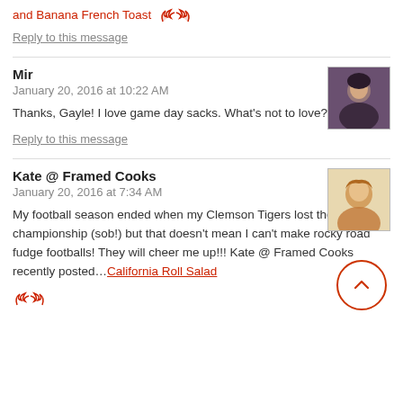and Banana French Toast [red link, with wing icon]
Reply to this message
Mir
January 20, 2016 at 10:22 AM
Thanks, Gayle! I love game day sacks. What's not to love?
Reply to this message
Kate @ Framed Cooks
January 20, 2016 at 7:34 AM
My football season ended when my Clemson Tigers lost the national championship (sob!) but that doesn't mean I can't make rocky road fudge footballs! They will cheer me up!!! Kate @ Framed Cooks recently posted...California Roll Salad